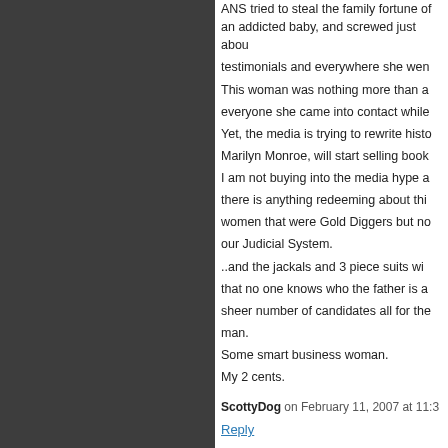ANS tried to steal the family fortune of an addicted baby, and screwed just about everyone she came into contact while giving testimonials and everywhere she went. This woman was nothing more than a parasite on everyone she came into contact while alive. Yet, the media is trying to rewrite history like Marilyn Monroe, will start selling books etc. I am not buying into the media hype and don't see there is anything redeeming about this lady. Yes, women that were Gold Diggers but now abusing our Judicial System. ..and the jackals and 3 piece suits will make sure that no one knows who the father is and given the sheer number of candidates all for the love of money man. Some smart business woman. My 2 cents.
ScottyDog on February 11, 2007 at 11:3
Reply
Hey ScottyDog,